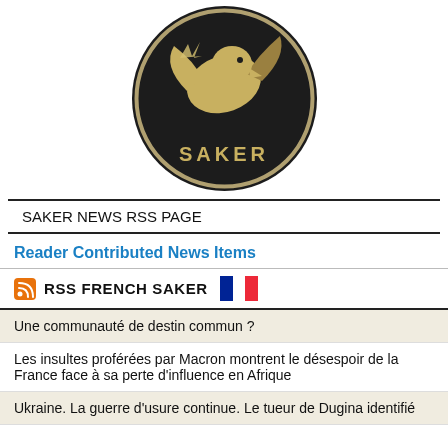[Figure (logo): Saker circular logo — dark background with a bird/hawk graphic and the word SAKER at the bottom]
SAKER NEWS RSS PAGE
Reader Contributed News Items
RSS FRENCH SAKER
Une communauté de destin commun ?
Les insultes proférées par Macron montrent le désespoir de la France face à sa perte d'influence en Afrique
Ukraine. La guerre d'usure continue. Le tueur de Dugina identifié